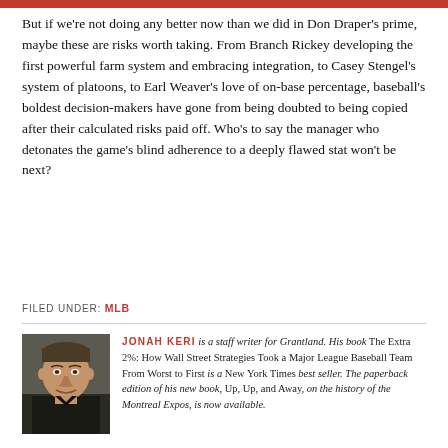But if we're not doing any better now than we did in Don Draper's prime, maybe these are risks worth taking. From Branch Rickey developing the first powerful farm system and embracing integration, to Casey Stengel's system of platoons, to Earl Weaver's love of on-base percentage, baseball's boldest decision-makers have gone from being doubted to being copied after their calculated risks paid off. Who's to say the manager who detonates the game's blind adherence to a deeply flawed stat won't be next?
FILED UNDER: MLB
[Figure (photo): Headshot photo of Jonah Keri, a man in a dark shirt]
JONAH KERI is a staff writer for Grantland. His book The Extra 2%: How Wall Street Strategies Took a Major League Baseball Team From Worst to First is a New York Times best seller. The paperback edition of his new book, Up, Up, and Away, on the history of the Montreal Expos, is now available.